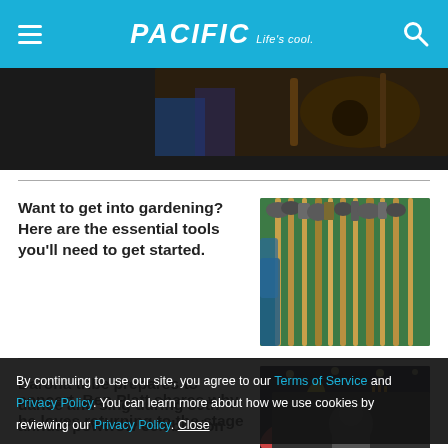PACIFIC Life's cool.
[Figure (photo): Partially visible image of musical instruments on dark background]
Want to get into gardening? Here are the essential tools you'll need to get started.
[Figure (photo): Garden tools (shovels, rakes, brooms) hanging on a green wall in a hardware store]
Barona tribe prepares to dance and sing during 50th annual powwow celebration
[Figure (photo): Native American dancers in colorful traditional regalia performing at a powwow]
By continuing to use our site, you agree to our Terms of Service and Privacy Policy. You can learn more about how we use cookies by reviewing our Privacy Policy. Close
concert. Ben Platt shares why he loves returning to the stage
[Figure (photo): Partially visible image of a person (concert/performance context)]